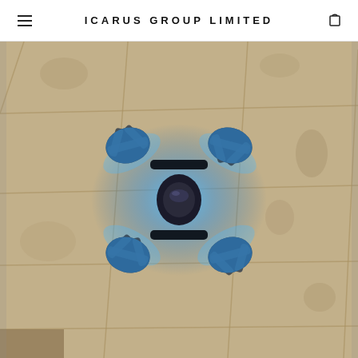ICARUS GROUP LIMITED
[Figure (photo): Overhead view of a remote-controlled stunt car toy with four large blue-glowing wheels arranged symmetrically on a beige/tan tile floor. The car has a dark body in the center and the blue LED lights from the wheels create a blue glow pattern on the floor around it.]